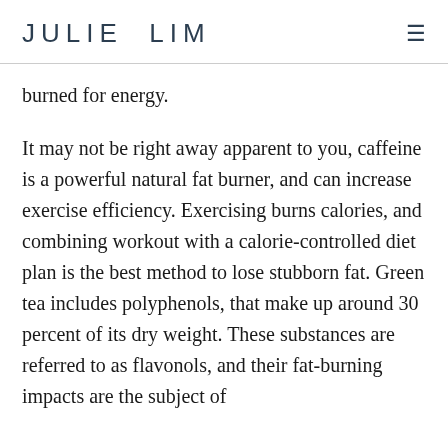JULIE LIM
burned for energy.
It may not be right away apparent to you, caffeine is a powerful natural fat burner, and can increase exercise efficiency. Exercising burns calories, and combining workout with a calorie-controlled diet plan is the best method to lose stubborn fat. Green tea includes polyphenols, that make up around 30 percent of its dry weight. These substances are referred to as flavonols, and their fat-burning impacts are the subject of